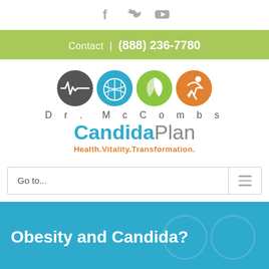[Figure (logo): Social media icons: Facebook, Twitter, YouTube]
Contact  |  (888) 236-7780
[Figure (logo): Dr. McCombs CandidaPlan logo with four circular icons (heartbeat, citrus, leaf, wellness figure) and tagline Health.Vitality.Transformation.]
Go to...
Obesity and Candida?